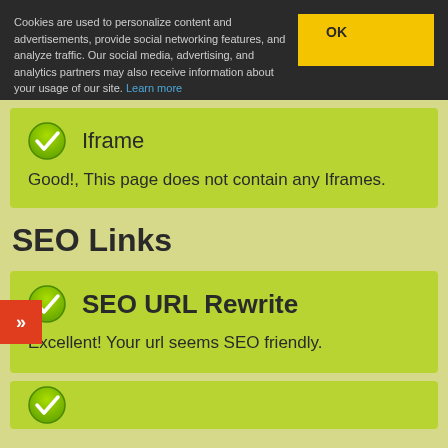Cookies are used to personalize content and advertisements, provide social networking features, and analyze traffic. Our social media, advertising, and analytics partners may also receive information about your usage of our site. Learn more
Iframe
Good!, This page does not contain any Iframes.
SEO Links
SEO URL Rewrite
Excellent! Your url seems SEO friendly.